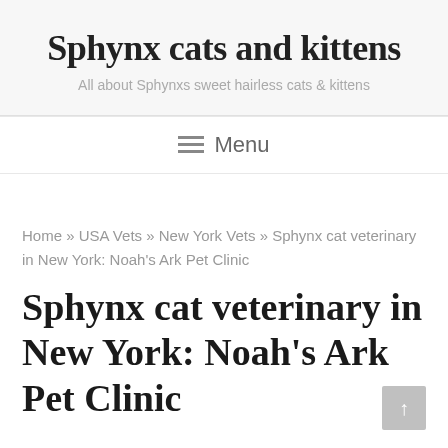Sphynx cats and kittens
All about Sphynxs sweet hairless cats & kittens
≡  Menu
Home » USA Vets » New York Vets » Sphynx cat veterinary in New York: Noah's Ark Pet Clinic
Sphynx cat veterinary in New York: Noah's Ark Pet Clinic